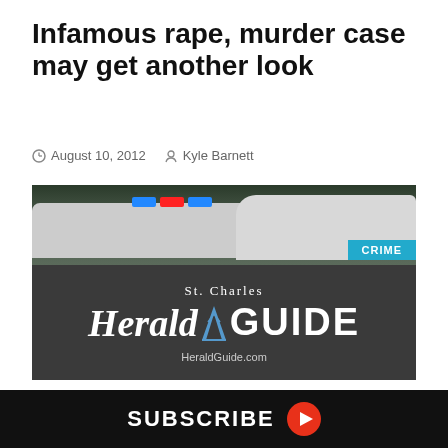Infamous rape, murder case may get another look
August 10, 2012   Kyle Barnett
[Figure (photo): St. Charles Herald Guide newspaper crime section banner with police car in background showing blue and red lights, CRIME badge in cyan, and HeraldGuide.com website shown on dark background]
SUBSCRIBE